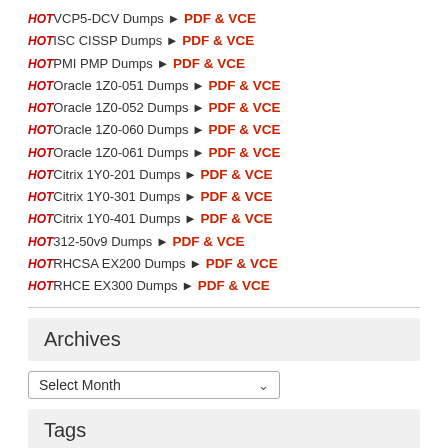HOT VCP5-DCV Dumps ➤ PDF & VCE
HOT ISC CISSP Dumps ➤ PDF & VCE
HOT PMI PMP Dumps ➤ PDF & VCE
HOT Oracle 1Z0-051 Dumps ➤ PDF & VCE
HOT Oracle 1Z0-052 Dumps ➤ PDF & VCE
HOT Oracle 1Z0-060 Dumps ➤ PDF & VCE
HOT Oracle 1Z0-061 Dumps ➤ PDF & VCE
HOT Citrix 1Y0-201 Dumps ➤ PDF & VCE
HOT Citrix 1Y0-301 Dumps ➤ PDF & VCE
HOT Citrix 1Y0-401 Dumps ➤ PDF & VCE
HOT 312-50v9 Dumps ➤ PDF & VCE
HOT RHCSA EX200 Dumps ➤ PDF & VCE
HOT RHCE EX300 Dumps ➤ PDF & VCE
Archives
Select Month
Tags